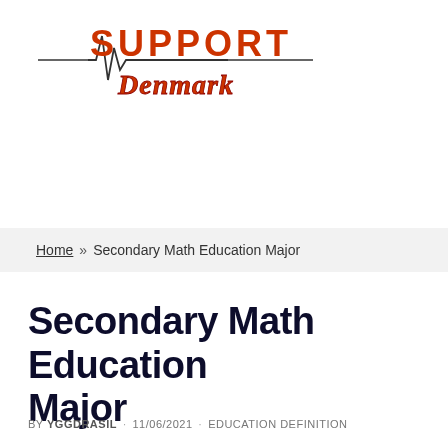[Figure (logo): Support Denmark logo with heartbeat line graphic, SUPPORT text in orange/red, and Denmark in cursive script below]
Home » Secondary Math Education Major
Secondary Math Education Major
BY YGGDRASIL · 11/06/2021 · EDUCATION DEFINITION